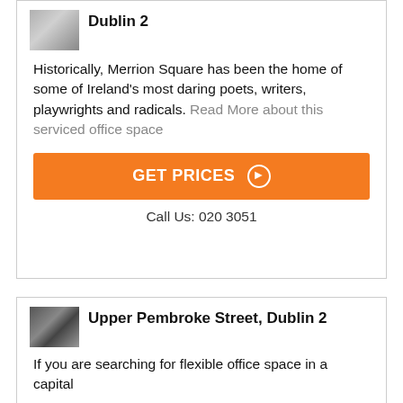Dublin 2
Historically, Merrion Square has been the home of some of Ireland's most daring poets, writers, playwrights and radicals. Read More about this serviced office space
[Figure (other): Orange GET PRICES button with right arrow circle icon]
Call Us: 020 3051
[Figure (photo): Small thumbnail image of Upper Pembroke Street office space showing an arched window]
Upper Pembroke Street, Dublin 2
If you are searching for flexible office space in a capital